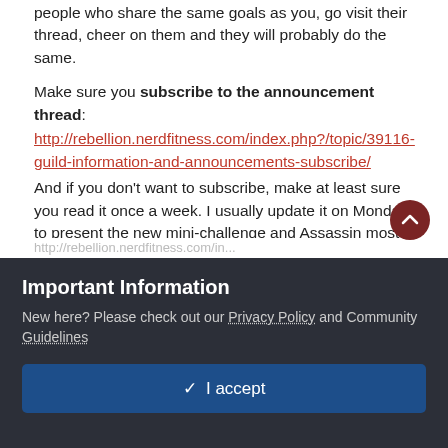support you, you may have to do the same. You will probably find many people who share the same goals as you, go visit their thread, cheer on them and they will probably do the same.
Make sure you subscribe to the announcement thread: http://rebellion.nerdfitness.com/index.php?/topic/39116-guild-information-and-announcements-subscribe/ And if you don't want to subscribe, make at least sure you read it once a week. I usually update it on Monday to present the new mini-challenge and Assassin most wanted list.
Don't stay by yourself bis! The assassin's den is open to all, you have funny gifs to share, a story to tell, needs some advices or just want a place to chat? The Assassin's den is the place to go (also, we have corgis)!
Important Information
New here? Please check out our Privacy Policy and Community Guidelines
✓  I accept